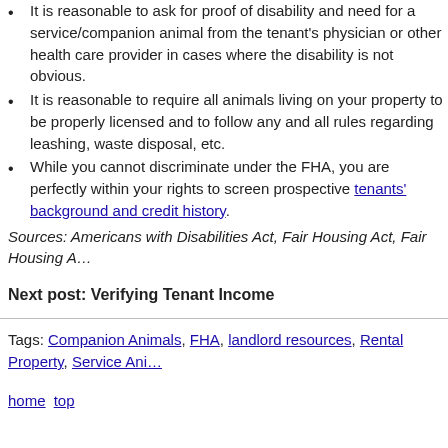It is reasonable to ask for proof of disability and need for a service/companion animal from the tenant's physician or other health care provider in cases where the disability is not obvious.
It is reasonable to require all animals living on your property to be properly licensed and to follow any and all rules regarding leashing, waste disposal, etc.
While you cannot discriminate under the FHA, you are perfectly within your rights to screen prospective tenants' background and credit history.
Sources: Americans with Disabilities Act, Fair Housing Act, Fair Housing A…
Next post: Verifying Tenant Income
Tags: Companion Animals, FHA, landlord resources, Rental Property, Service Ani…
home top